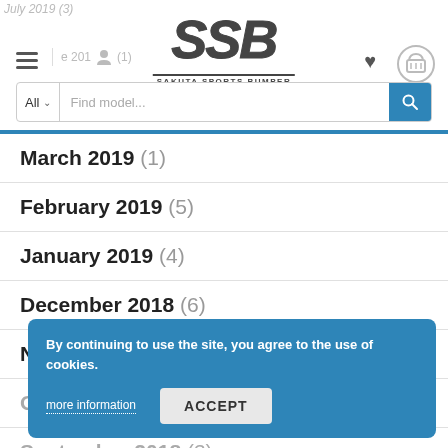July 2019 (3)
[Figure (logo): SSB Sakuta Sports Bumper logo with stylized text and subtitle]
Find model...
March 2019 (1)
February 2019 (5)
January 2019 (4)
December 2018 (6)
November 2018 (4)
October 2018 (8)
September 2018 (3)
August 2018 (11)
By continuing to use the site, you agree to the use of cookies. more information ACCEPT